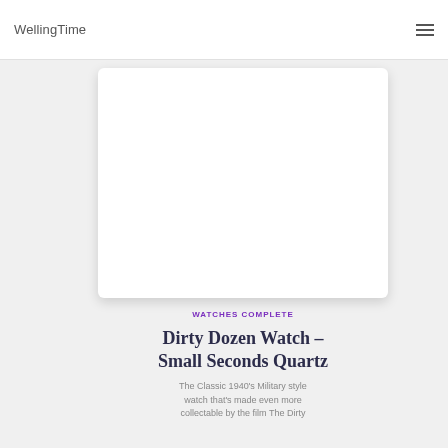WellingTime
[Figure (photo): White card with rounded corners showing a watch product image placeholder on a light gray background]
WATCHES COMPLETE
Dirty Dozen Watch – Small Seconds Quartz
The Classic 1940's Military style watch that's made even more collectable by the film The Dirty